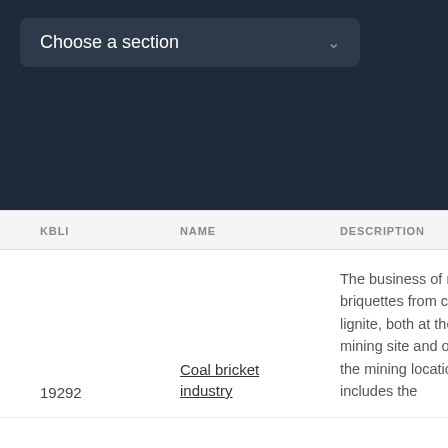[Figure (screenshot): Dark navy header area with a dropdown selector labeled 'Choose a section' with a chevron arrow]
| KBLI | NAME | DESCRIPTION | STA... |
| --- | --- | --- | --- |
| 19292 | Coal bricket industry | The business of making briquettes from coal or lignite, both at the mining site and outside the mining location. This includes the... | C... |